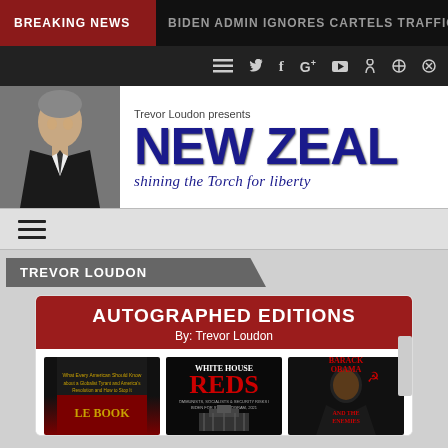BREAKING NEWS  BIDEN ADMIN IGNORES CARTELS TRAFFICKING HUMA
[Figure (screenshot): Navigation bar with hamburger menu, Twitter, Facebook, Google+, YouTube, RSS, and search icons on dark background]
[Figure (logo): Trevor Loudon presents NEW ZEAL - shining the torch for liberty. Logo with man in suit photo on left and blue bold NEW ZEAL text on right with italic subtitle.]
[Figure (screenshot): Hamburger/menu icon on gray strip]
TREVOR LOUDON
[Figure (illustration): Autographed Editions box by Trevor Loudon showing three book covers: an unnamed red/dark book, White House Reds, and Barack Obama and the Enemies]